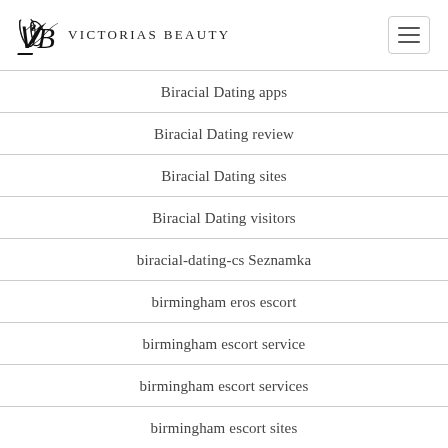Victorias Beauty
Biracial Dating apps
Biracial Dating review
Biracial Dating sites
Biracial Dating visitors
biracial-dating-cs Seznamka
birmingham eros escort
birmingham escort service
birmingham escort services
birmingham escort sites